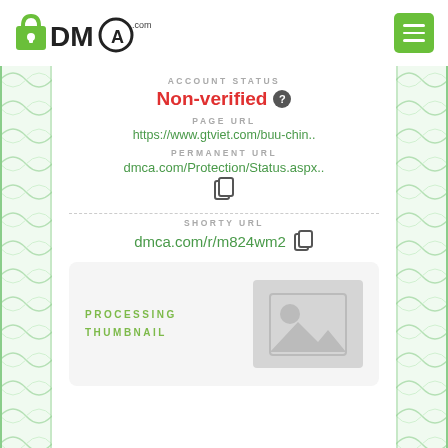[Figure (logo): DMCA.com logo with padlock icon]
ACCOUNT STATUS
Non-verified
PAGE URL
https://www.gtviet.com/buu-chin..
PERMANENT URL
dmca.com/Protection/Status.aspx..
SHORTY URL
dmca.com/r/m824wm2
PROCESSING THUMBNAIL